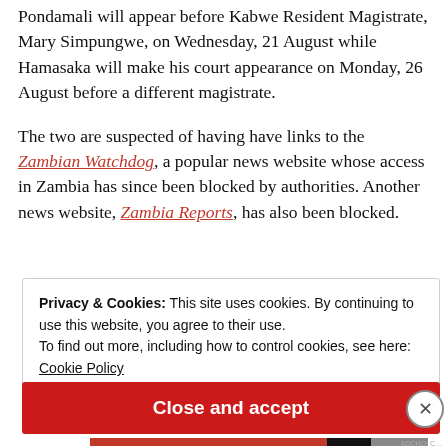Pondamali will appear before Kabwe Resident Magistrate, Mary Simpungwe, on Wednesday, 21 August while Hamasaka will make his court appearance on Monday, 26 August before a different magistrate.
The two are suspected of having have links to the Zambian Watchdog, a popular news website whose access in Zambia has since been blocked by authorities. Another news website, Zambia Reports, has also been blocked.
Privacy & Cookies: This site uses cookies. By continuing to use this website, you agree to their use.
To find out more, including how to control cookies, see here:
Cookie Policy
Close and accept